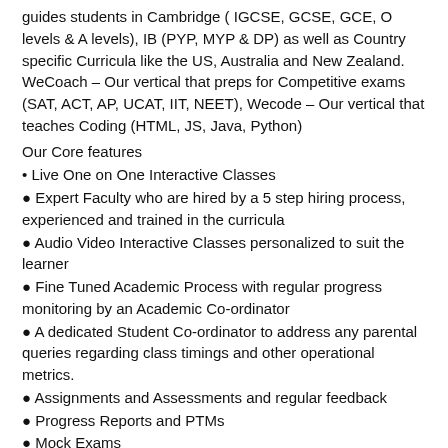guides students in Cambridge ( IGCSE, GCSE, GCE, O levels & A levels), IB (PYP, MYP & DP) as well as Country specific Curricula like the US, Australia and New Zealand. WeCoach – Our vertical that preps for Competitive exams (SAT, ACT, AP, UCAT, IIT, NEET), Wecode – Our vertical that teaches Coding (HTML, JS, Java, Python)
Our Core features
• Live One on One Interactive Classes
● Expert Faculty who are hired by a 5 step hiring process, experienced and trained in the curricula
● Audio Video Interactive Classes personalized to suit the learner
● Fine Tuned Academic Process with regular progress monitoring by an Academic Co-ordinator
● A dedicated Student Co-ordinator to address any parental queries regarding class timings and other operational metrics.
● Assignments and Assessments and regular feedback
● Progress Reports and PTMs
● Mock Exams
● Back up or Substitute Tutors to provide Continuity in